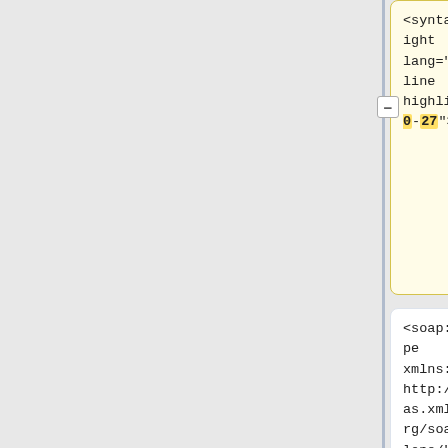[Figure (screenshot): Side-by-side diff view showing XML/code snippet cells in two columns. Left column has yellow-highlighted cells and right column has blue-highlighted cells. Rows show: (1) syntaxhighlight tag with line highlight attributes (20-27 vs 13-18), (2) soap:Envelope element with xmlns:soap attribute, (3) soap:Header element, (4) Action element with xmlns attribute (truncated).]